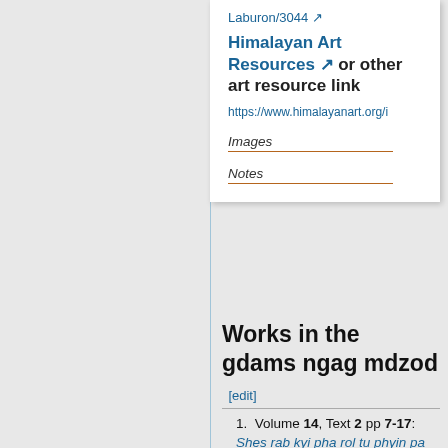Laburon/3044
Himalayan Art Resources or other art resource link
https://www.himalayanart.org/i
Images
Notes
Works in the gdams ngag mdzod [edit]
Volume 14, Text 2 pp 7-17: Shes rab kyi pha rol tu phyin pa zab mo gcod kyi man ngag gi gzhung bka' tshoms chen mo